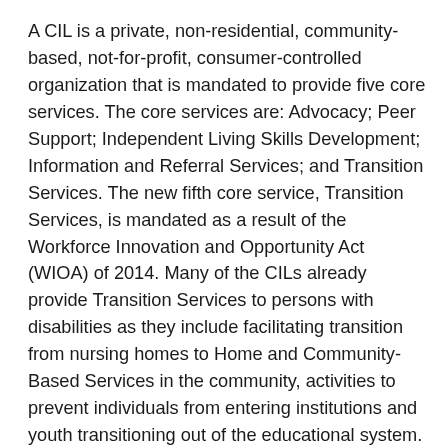A CIL is a private, non-residential, community-based, not-for-profit, consumer-controlled organization that is mandated to provide five core services. The core services are: Advocacy; Peer Support; Independent Living Skills Development; Information and Referral Services; and Transition Services. The new fifth core service, Transition Services, is mandated as a result of the Workforce Innovation and Opportunity Act (WIOA) of 2014. Many of the CILs already provide Transition Services to persons with disabilities as they include facilitating transition from nursing homes to Home and Community-Based Services in the community, activities to prevent individuals from entering institutions and youth transitioning out of the educational system. With anticipation of full implementation of WIOA, CILs are very well positioned to enhance